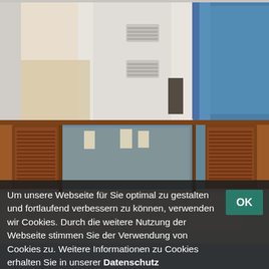[Figure (photo): Yacht exterior deck area showing white fiberglass surfaces with louvered vents, blue metal handrail on right side, and turquoise ocean water in background. Light sunlit conditions.]
[Figure (photo): Yacht interior cabin showing warm wood paneling and cabinetry with louvered doors, large mirrors reflecting wall-mounted lamps with white shades, and a bed with white pillows/bedding with monogrammed logo.]
Um unsere Webseite für Sie optimal zu gestalten und fortlaufend verbessern zu können, verwenden wir Cookies. Durch die weitere Nutzung der Webseite stimmen Sie der Verwendung von Cookies zu. Weitere Informationen zu Cookies erhalten Sie in unserer Datenschutz